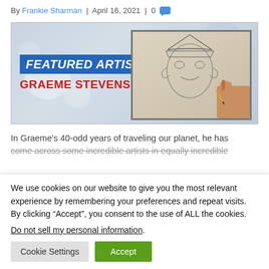By Frankie Sharman | April 16, 2021 | 0
[Figure (illustration): Featured Artist banner with blue box reading FEATURED ARTIST and red text GRAEME STEVENSON on left, and a framed pencil sketch of a goblin/troll character being drawn by a hand on the right, against a light gray bokeh background.]
In Graeme’s 40-odd years of traveling our planet, he has come across some incredible artists in equally incredible
We use cookies on our website to give you the most relevant experience by remembering your preferences and repeat visits. By clicking “Accept”, you consent to the use of ALL the cookies.
Do not sell my personal information.
Cookie Settings  Accept